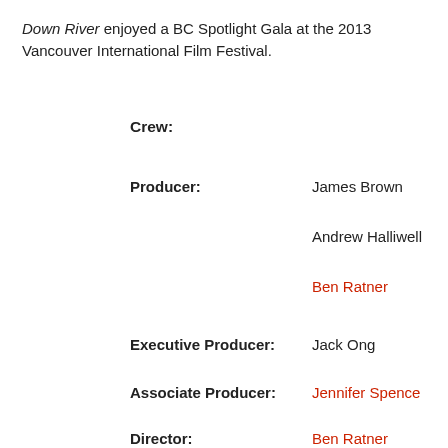Down River enjoyed a BC Spotlight Gala at the 2013 Vancouver International Film Festival.
Crew:
Producer: James Brown
Andrew Halliwell
Ben Ratner
Executive Producer: Jack Ong
Associate Producer: Jennifer Spence
Director: Ben Ratner